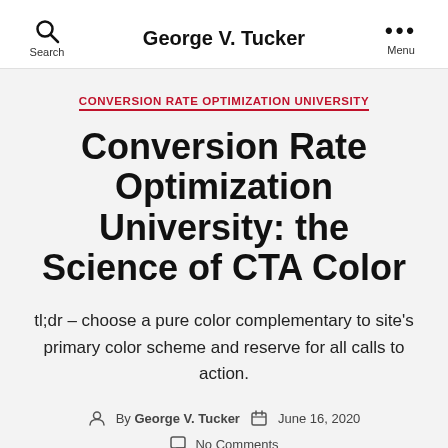George V. Tucker
CONVERSION RATE OPTIMIZATION UNIVERSITY
Conversion Rate Optimization University: the Science of CTA Color
tl;dr – choose a pure color complementary to site's primary color scheme and reserve for all calls to action.
By George V. Tucker   June 16, 2020   No Comments